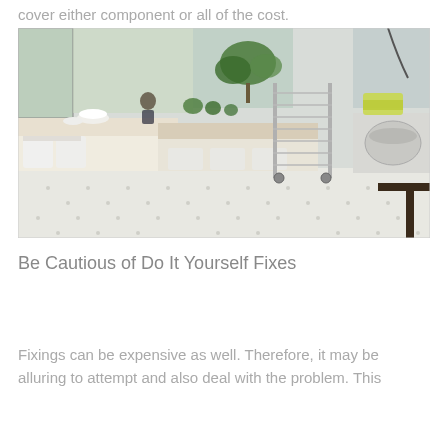cover either component or all of the cost.
[Figure (photo): Interior of a modern commercial kitchen/bakery with large windows, workbenches, plants, a metal rack trolley with multiple shelves, large white containers, and commercial mixing equipment on the right side. Bright, airy space with white tile floor.]
Be Cautious of Do It Yourself Fixes
Fixings can be expensive as well. Therefore, it may be alluring to attempt and also deal with the problem. This